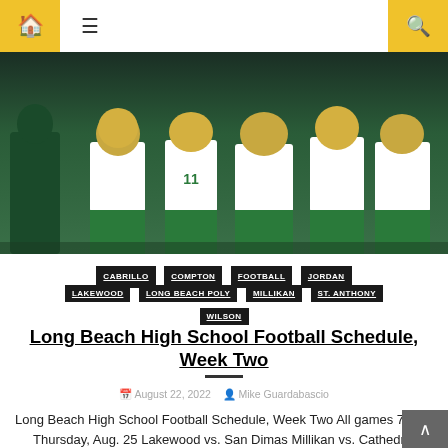Home | Menu | Search
[Figure (photo): Football players in green uniforms and gold helmets walking together]
CABRILLO
COMPTON
FOOTBALL
JORDAN
LAKEWOOD
LONG BEACH POLY
MILLIKAN
ST. ANTHONY
WILSON
Long Beach High School Football Schedule, Week Two
August 22, 2022  Mike Guardabascio
Long Beach High School Football Schedule, Week Two All games 7 p.m. Thursday, Aug. 25 Lakewood vs. San Dimas Millikan vs. Cathedral Friday, Aug. 26 Long Beach Poly vs. Serra